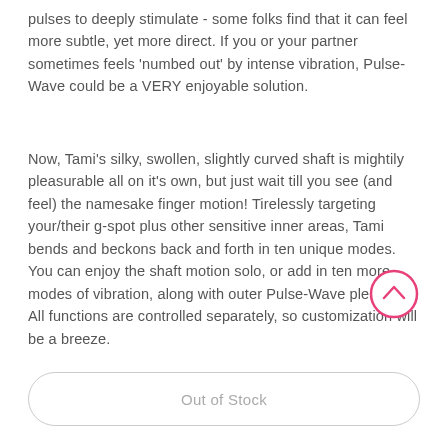pulses to deeply stimulate - some folks find that it can feel more subtle, yet more direct. If you or your partner sometimes feels 'numbed out' by intense vibration, Pulse-Wave could be a VERY enjoyable solution.
Now, Tami's silky, swollen, slightly curved shaft is mightily pleasurable all on it's own, but just wait till you see (and feel) the namesake finger motion! Tirelessly targeting your/their g-spot plus other sensitive inner areas, Tami bends and beckons back and forth in ten unique modes. You can enjoy the shaft motion solo, or add in ten more modes of vibration, along with outer Pulse-Wave pleasure. All functions are controlled separately, so customization will be a breeze.
[Figure (other): A circular scroll-up button with a pink/hot-pink border and an upward chevron arrow icon in the center]
Out of Stock